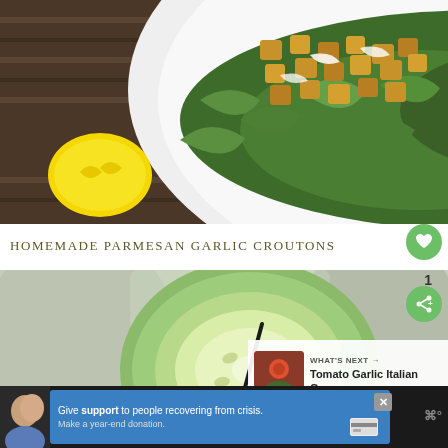[Figure (photo): Overhead photo of a white bowl filled with arugula salad topped with croutons and parmesan shavings, with a lemon on the side, on a wicker mat]
HOMEMADE PARMESAN GARLIC CROUTONS
[Figure (photo): Close-up photo of a cucumber slice in a drink/cocktail]
[Figure (photo): What's Next thumbnail - Tomato Garlic Italian Green...]
WHAT'S NEXT → Tomato Garlic Italian Green...
[Figure (screenshot): Advertisement bar: Give support to people recovering from crisis. Make a year-end donation.]